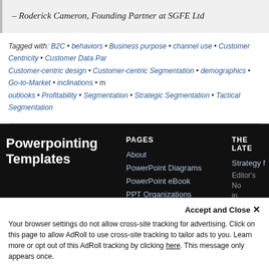– Roderick Cameron, Founding Partner at SGFE Ltd
Tagged with: B2C • behaviors • Business purpose • channel use • Customer Centricity • Customer Data Par… Customer-centric design • Customer-centric Segmentation • demographics • Go-to-Market • inclinations • m… outlooks • Profitability • Segmentation • Strategic Segmentation • Tactical Segmentation
Powerpointing Templates
PAGES
About
PowerPoint Diagrams
PowerPoint eBook
PPT Organizations
THE LATE
Strategy f
Editor's No in becoming Innovation l
Accept and Close ✕
Your browser settings do not allow cross-site tracking for advertising. Click on this page to allow AdRoll to use cross-site tracking to tailor ads to you. Learn more or opt out of this AdRoll tracking by clicking here. This message only appears once.